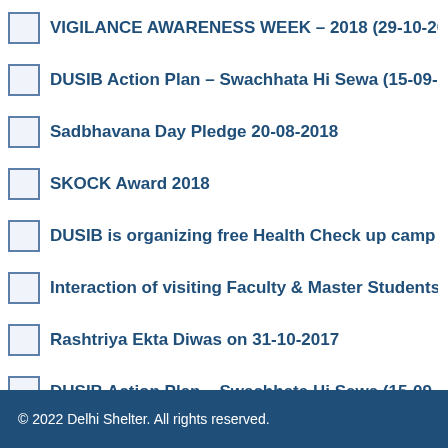VIGILANCE AWARENESS WEEK – 2018 (29-10-2018 to
DUSIB Action Plan – Swachhata Hi Sewa (15-09-2018
Sadbhavana Day Pledge 20-08-2018
SKOCK Award 2018
DUSIB is organizing free Health Check up camp for Ca
Interaction of visiting Faculty & Master Students from
Rashtriya Ekta Diwas on 31-10-2017
DUSIB Action Plan – Swachhata Hi Sewa (15-09-2017
© 2022 Delhi Shelter. All rights reserved.